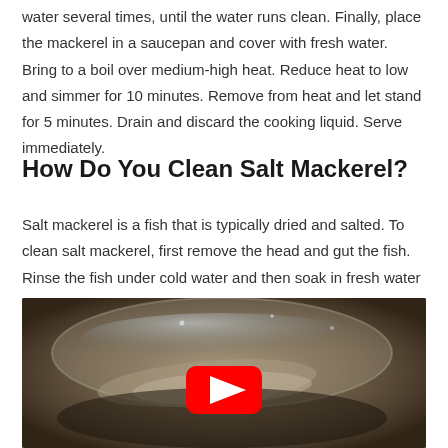water several times, until the water runs clean. Finally, place the mackerel in a saucepan and cover with fresh water. Bring to a boil over medium-high heat. Reduce heat to low and simmer for 10 minutes. Remove from heat and let stand for 5 minutes. Drain and discard the cooking liquid. Serve immediately.
How Do You Clean Salt Mackerel?
Salt mackerel is a fish that is typically dried and salted. To clean salt mackerel, first remove the head and gut the fish. Rinse the fish under cold water and then soak in fresh water for a few hours. Change the water several times until it runs clear. Finally, pat the fish dry and cook as desired.
[Figure (photo): A video thumbnail showing fish soaking in a glass bowl of water with a YouTube play button overlay]